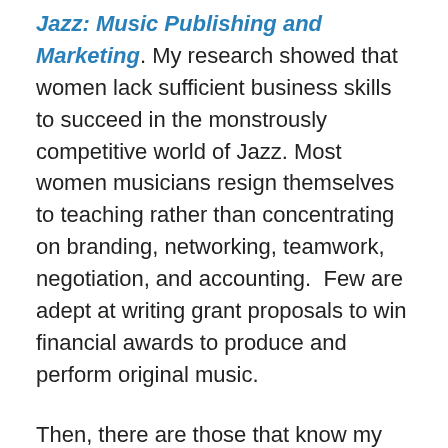Jazz: Music Publishing and Marketing. My research showed that women lack sufficient business skills to succeed in the monstrously competitive world of Jazz. Most women musicians resign themselves to teaching rather than concentrating on branding, networking, teamwork, negotiation, and accounting.  Few are adept at writing grant proposals to win financial awards to produce and perform original music.
Then, there are those that know my organization exists but minimalize it because I am not a white woman.  Well, Blues and Jazz came from the experience of African women and men in America, and just because white musicians think they own it, they never will.  They may play all the riffs and copy all the solos of Ella Fitzgerald, Billie Holiday, Sarah Vaughn, Carmen McRae, Betty